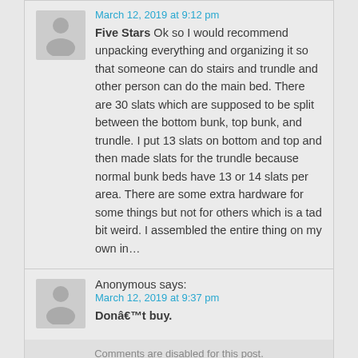March 12, 2019 at 9:12 pm
Five Stars Ok so I would recommend unpacking everything and organizing it so that someone can do stairs and trundle and other person can do the main bed. There are 30 slats which are supposed to be split between the bottom bunk, top bunk, and trundle. I put 13 slats on bottom and top and then made slats for the trundle because normal bunk beds have 13 or 14 slats per area. There are some extra hardware for some things but not for others which is a tad bit weird. I assembled the entire thing on my own in…
Anonymous says:
March 12, 2019 at 9:37 pm
Donât buy.
Comments are disabled for this post.
[Figure (other): Gray rectangle image at the bottom of the page]